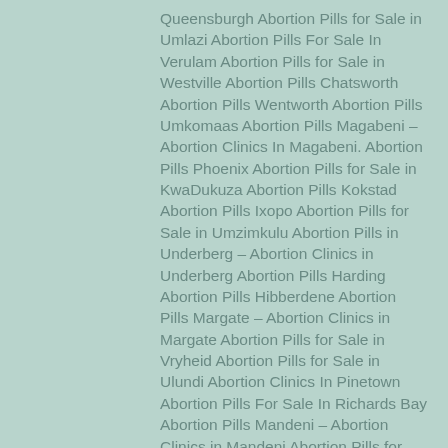Queensburgh Abortion Pills for Sale in Umlazi Abortion Pills For Sale In Verulam Abortion Pills for Sale in Westville Abortion Pills Chatsworth Abortion Pills Wentworth Abortion Pills Umkomaas Abortion Pills Magabeni – Abortion Clinics In Magabeni. Abortion Pills Phoenix Abortion Pills for Sale in KwaDukuza Abortion Pills Kokstad Abortion Pills Ixopo Abortion Pills for Sale in Umzimkulu Abortion Pills in Underberg – Abortion Clinics in Underberg Abortion Pills Harding Abortion Pills Hibberdene Abortion Pills Margate – Abortion Clinics in Margate Abortion Pills for Sale in Vryheid Abortion Pills for Sale in Ulundi Abortion Clinics In Pinetown Abortion Pills For Sale In Richards Bay Abortion Pills Mandeni – Abortion Clinics in Mandeni Abortion Pills for Sale in Eshowe Abortion Pills In Empangeni Abortion Pills In Ladysmith Abortion Pills Estcourt Abortion Pills Mtubatuba Safe Abortion Pills for Sale in Jozini Abortion Pills Hluhluwe Abortion Pills Ulundi Abortio…